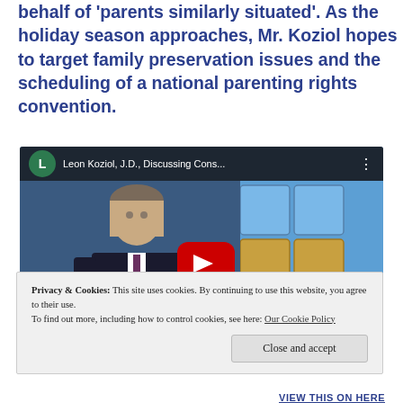behalf of 'parents similarly situated'. As the holiday season approaches, Mr. Koziol hopes to target family preservation issues and the scheduling of a national parenting rights convention.
[Figure (screenshot): YouTube video thumbnail showing Leon Koziol, J.D., Discussing Cons... with a play button overlay. Shows a man in a dark suit sitting in front of blue glass block windows.]
Privacy & Cookies: This site uses cookies. By continuing to use this website, you agree to their use. To find out more, including how to control cookies, see here: Our Cookie Policy
Close and accept
VIEW THIS ON HERE